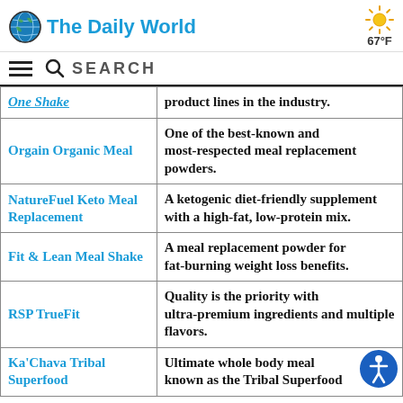The Daily World — 67°F — SEARCH
| Product | Description |
| --- | --- |
| One Shake (partial) | product lines in the industry. |
| Orgain Organic Meal | One of the best-known and most-respected meal replacement powders. |
| NatureFuel Keto Meal Replacement | A ketogenic diet-friendly supplement with a high-fat, low-protein mix. |
| Fit & Lean Meal Shake | A meal replacement powder for fat-burning weight loss benefits. |
| RSP TrueFit | Quality is the priority with ultra-premium ingredients and multiple flavors. |
| Ka'Chava Tribal Superfood | Ultimate whole body meal known as the Tribal Superfood |